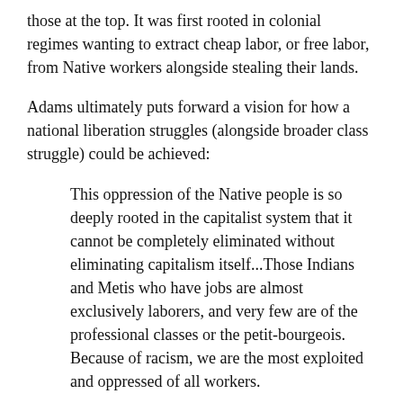those at the top. It was first rooted in colonial regimes wanting to extract cheap labor, or free labor, from Native workers alongside stealing their lands.
Adams ultimately puts forward a vision for how a national liberation struggles (alongside broader class struggle) could be achieved:
This oppression of the Native people is so deeply rooted in the capitalist system that it cannot be completely eliminated without eliminating capitalism itself...Those Indians and Metis who have jobs are almost exclusively laborers, and very few are of the professional classes or the petit-bourgeois. Because of racism, we are the most exploited and oppressed of all workers.
At the moment, the success of the Native movement depends on its ability to develop a